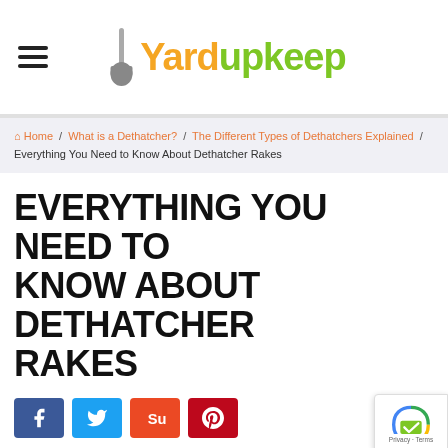Yardupkeep
Home / What is a Dethatcher? / The Different Types of Dethatchers Explained / Everything You Need to Know About Dethatcher Rakes
EVERYTHING YOU NEED TO KNOW ABOUT DETHATCHER RAKES
[Figure (other): Social sharing buttons: Facebook, Twitter, StumbleUpon, Pinterest]
Dethatcher rakes are gardening tools designed to remove ...